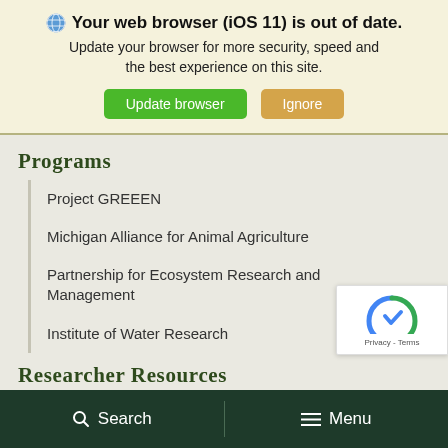🌐 Your web browser (iOS 11) is out of date. Update your browser for more security, speed and the best experience on this site. [Update browser] [Ignore]
Programs
Project GREEEN
Michigan Alliance for Animal Agriculture
Partnership for Ecosystem Research and Management
Institute of Water Research
Researcher Resources
Commodity Group RFPs
🔍 Search  ☰ Menu